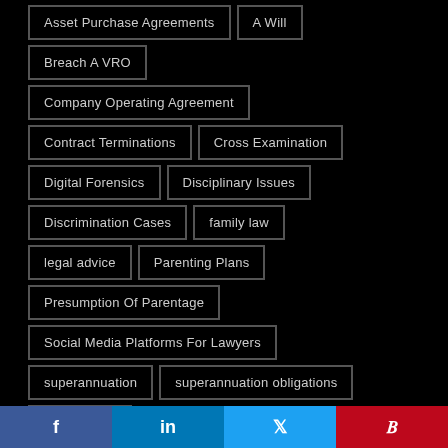Asset Purchase Agreements
A Will
Breach A VRO
Company Operating Agreement
Contract Terminations
Cross Examination
Digital Forensics
Disciplinary Issues
Discrimination Cases
family law
legal advice
Parenting Plans
Presumption Of Parentage
Social Media Platforms For Lawyers
superannuation
superannuation obligations
transgender
[Figure (infographic): Social sharing bar with Facebook (blue), LinkedIn (dark blue), Twitter (cyan), Pinterest (red) icons]